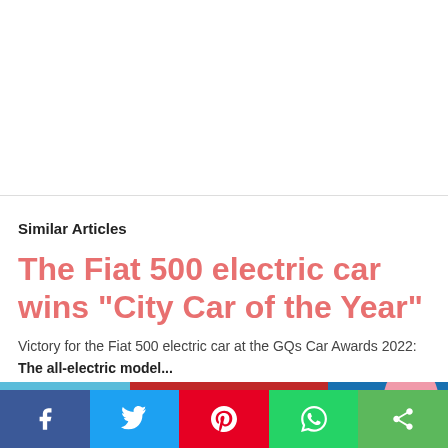Similar Articles
The Fiat 500 electric car wins "City Car of the Year"
Victory for the Fiat 500 electric car at the GQs Car Awards 2022:
The all-electric model...
[Figure (photo): Partially visible image of a Fiat 500 electric car, blue body visible at bottom of content area]
Social share bar with Facebook, Twitter, Pinterest, WhatsApp, and Share buttons